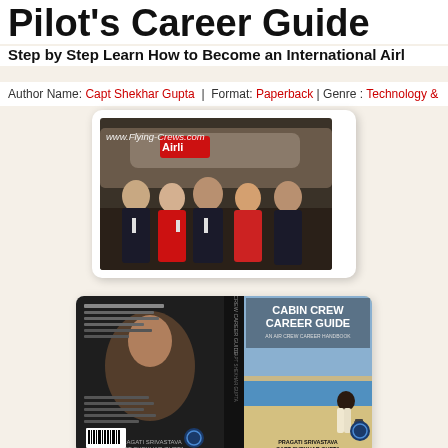Pilot's Career Guide
Step by Step Learn How to Become an International Airliner Pilot
Author Name: Capt Shekhar Gupta | Format: Paperback | Genre : Technology & Engineering
[Figure (photo): Group photo of airline crew (pilots and cabin crew) standing in front of an aircraft, with www.Flying-Crews.com watermark]
[Figure (photo): Book cover of 'Cabin Crew Career Guide' showing front and back covers, authored by Pragati Srivastava and Capt Shekhar Gupta]